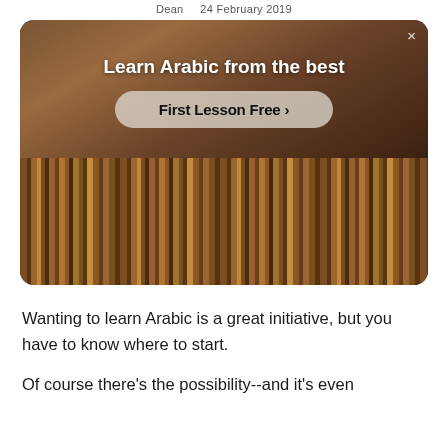Dean   24 February 2019
[Figure (photo): Advertisement banner for Arabic language learning. Dark warm-toned image showing a person and bookshelves. Text overlay: 'Learn Arabic from the best' with a 'First Lesson Free >' button. Close (X) button in top right corner.]
Wanting to learn Arabic is a great initiative, but you have to know where to start.
Of course there's the possibility--and it's even